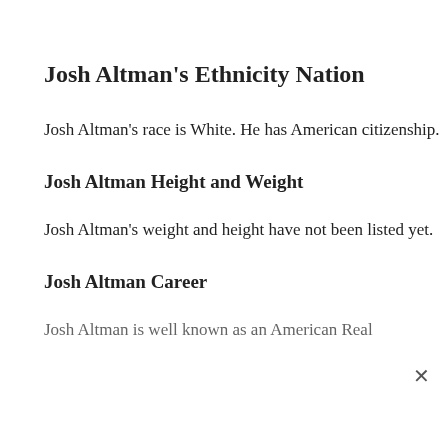Josh Altman's Ethnicity Nation
Josh Altman's race is White. He has American citizenship.
Josh Altman Height and Weight
Josh Altman's weight and height have not been listed yet.
Josh Altman Career
Josh Altman is well known as an American Real…